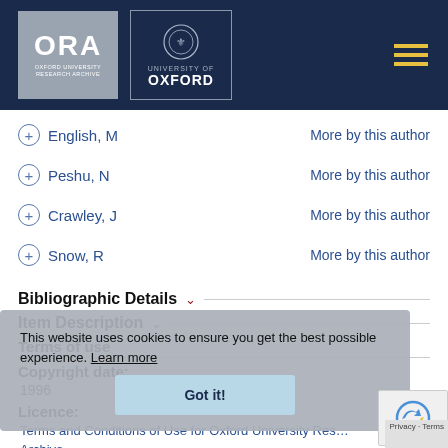[Figure (logo): ORA Oxford University Research Archive logo and University of Oxford crest on dark navy header]
+ English, M   More by this author
+ Peshu, N   More by this author
+ Crawley, J   More by this author
+ Snow, R   More by this author
Bibliographic Details ∨
Item Description ∨
Terms of use
Copyright date:
1996
Licence:
Terms and Conditions of Use for Oxford University Research Archive
This website uses cookies to ensure you get the best possible experience. Learn more